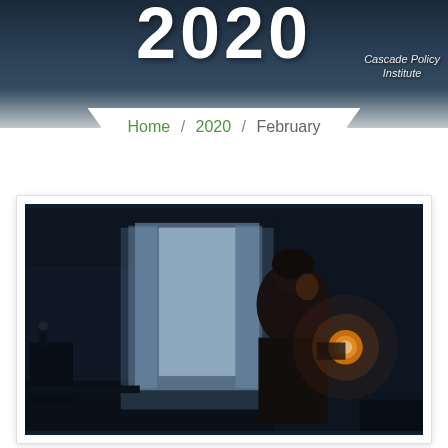2020
Cascade Policy Institute
Home / 2020 / February
[Figure (photo): Dark interior room scene with a person standing holding a glowing candle or lamp, a window with sheer curtains in the background letting in dim blue-grey light, and dim furniture visible on the left side of the room]